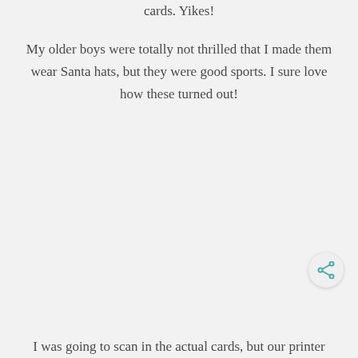cards. Yikes!
My older boys were totally not thrilled that I made them wear Santa hats, but they were good sports. I sure love how these turned out!
[Figure (other): Share/social media button icon in the bottom right corner]
I was going to scan in the actual cards, but our printer